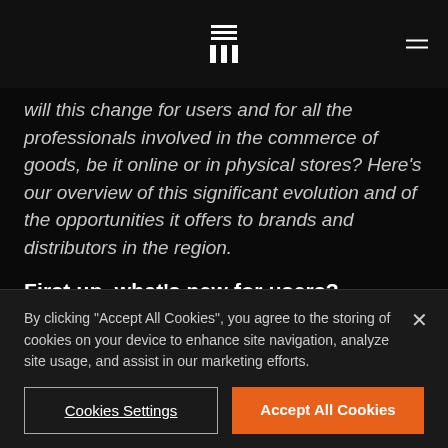[Navigation bar with logo and menu icon]
will this change for users and for all the professionals involved in the commerce of goods, be it online or in physical stores? Here's our overview of this significant evolution and of the opportunities it offers to brands and distributors in the region.
First up, what's new for users?
Next week, Amazon will officially launch its Belgian and Dutch branches. Until now, Belgian Amazon
By clicking "Accept All Cookies", you agree to the storing of cookies on your device to enhance site navigation, analyze site usage, and assist in our marketing efforts.
Cookies Settings
Accept All Cookies